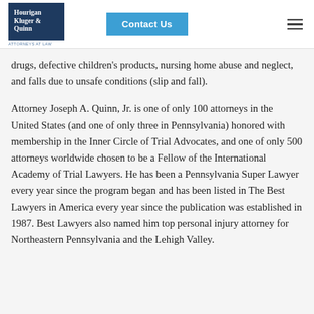[Figure (logo): Hourigan Kluger & Quinn Attorneys at Law logo in dark navy box]
drugs, defective children's products, nursing home abuse and neglect, and falls due to unsafe conditions (slip and fall).
Attorney Joseph A. Quinn, Jr. is one of only 100 attorneys in the United States (and one of only three in Pennsylvania) honored with membership in the Inner Circle of Trial Advocates, and one of only 500 attorneys worldwide chosen to be a Fellow of the International Academy of Trial Lawyers. He has been a Pennsylvania Super Lawyer every year since the program began and has been listed in The Best Lawyers in America every year since the publication was established in 1987. Best Lawyers also named him top personal injury attorney for Northeastern Pennsylvania and the Lehigh Valley.